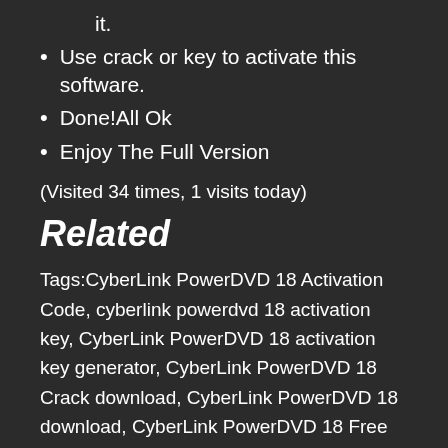it.
Use crack or key to activate this software.
Done!All Ok
Enjoy The Full Version
(Visited 34 times, 1 visits today)
Related
Tags:CyberLink PowerDVD 18 Activation Code, cyberlink powerdvd 18 activation key, CyberLink PowerDVD 18 activation key generator, CyberLink PowerDVD 18 Crack download, CyberLink PowerDVD 18 download, CyberLink PowerDVD 18 Free Download, cyberlink powerdvd 18 key, CyberLink PowerDVD 18 Keygen, CyberLink PowerDVD 18 license key, CyberLink PowerDVD 18 license key free download, CyberLink PowerDVD 18 Patch, CyberLink